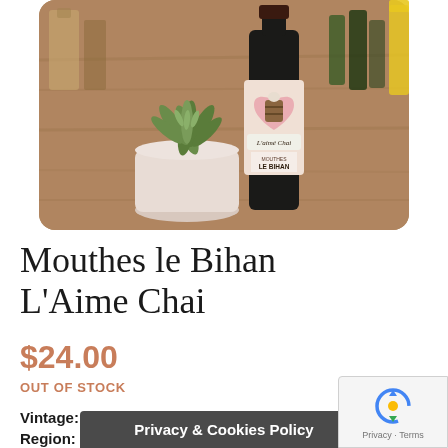[Figure (photo): Photo of a wine bottle labeled 'L'aimé Chai - Mouthes Le Bihan' with a cartoon animal hugging a barrel inside a heart shape. The bottle is on a wooden surface next to a succulent plant in a white pot.]
Mouthes le Bihan L'Aime Chai
$24.00
OUT OF STOCK
Vintage: 20...
Region: ...
Privacy & Cookies Policy